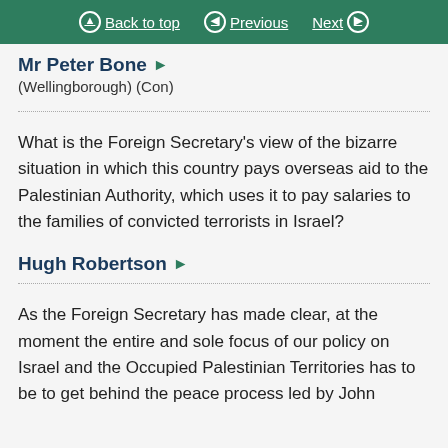Back to top | Previous | Next
Mr Peter Bone
(Wellingborough) (Con)
What is the Foreign Secretary's view of the bizarre situation in which this country pays overseas aid to the Palestinian Authority, which uses it to pay salaries to the families of convicted terrorists in Israel?
Hugh Robertson
As the Foreign Secretary has made clear, at the moment the entire and sole focus of our policy on Israel and the Occupied Palestinian Territories has to be to get behind the peace process led by John